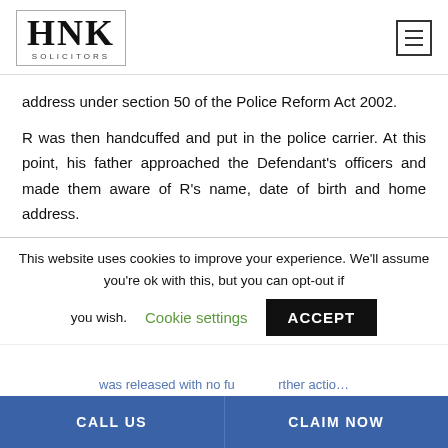HNK SOLICITORS
address under section 50 of the Police Reform Act 2002.
R was then handcuffed and put in the police carrier. At this point, his father approached the Defendant's officers and made them aware of R's name, date of birth and home address.
This website uses cookies to improve your experience. We'll assume you're ok with this, but you can opt-out if you wish. Cookie settings ACCEPT
was released with no further action.
CALL US   CLAIM NOW